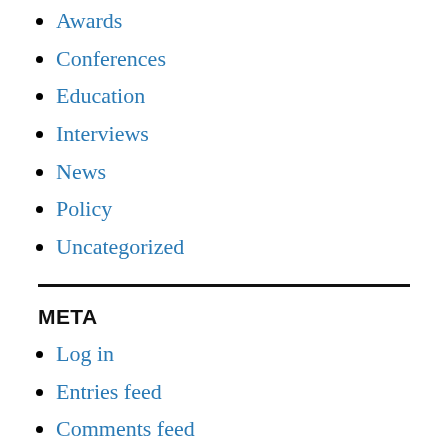Awards
Conferences
Education
Interviews
News
Policy
Uncategorized
META
Log in
Entries feed
Comments feed
WordPress.org